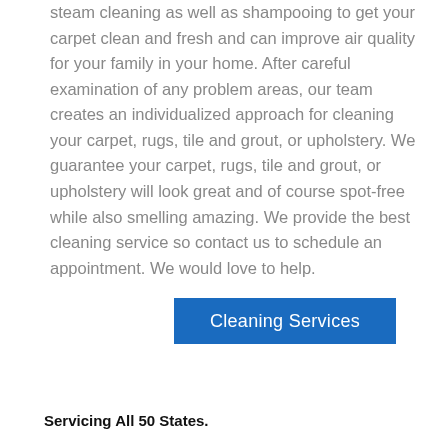steam cleaning as well as shampooing to get your carpet clean and fresh and can improve air quality for your family in your home. After careful examination of any problem areas, our team creates an individualized approach for cleaning your carpet, rugs, tile and grout, or upholstery. We guarantee your carpet, rugs, tile and grout, or upholstery will look great and of course spot-free while also smelling amazing. We provide the best cleaning service so contact us to schedule an appointment. We would love to help.
[Figure (other): Blue button labeled 'Cleaning Services']
Servicing All 50 States.